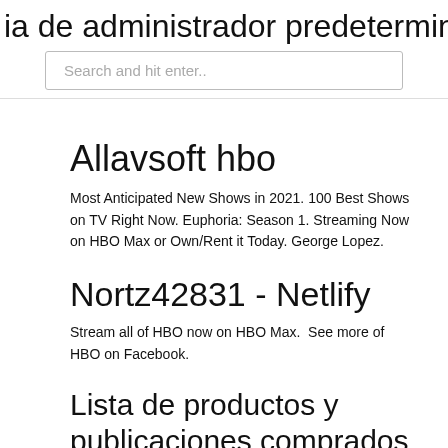ia de administrador predeterminada
Search and hit enter..
Allavsoft hbo
Most Anticipated New Shows in 2021. 100 Best Shows on TV Right Now. Euphoria: Season 1. Streaming Now on HBO Max or Own/Rent it Today. George Lopez.
Nortz42831 - Netlify
Stream all of HBO now on HBO Max.  See more of HBO on Facebook.
Lista de productos y publicaciones comprados – Ventas .